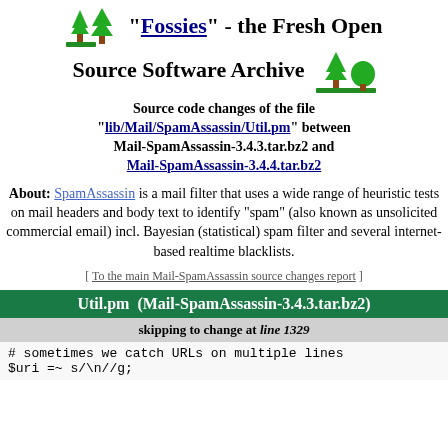"Fossies" - the Fresh Open Source Software Archive
Source code changes of the file "lib/Mail/SpamAssassin/Util.pm" between Mail-SpamAssassin-3.4.3.tar.bz2 and Mail-SpamAssassin-3.4.4.tar.bz2
About: SpamAssassin is a mail filter that uses a wide range of heuristic tests on mail headers and body text to identify "spam" (also known as unsolicited commercial email) incl. Bayesian (statistical) spam filter and several internet-based realtime blacklists.
[ To the main Mail-SpamAssassin source changes report ]
Util.pm  (Mail-SpamAssassin-3.4.3.tar.bz2)
skipping to change at line 1329
# sometimes we catch URLs on multiple lines
$uri =~ s/\n//g;